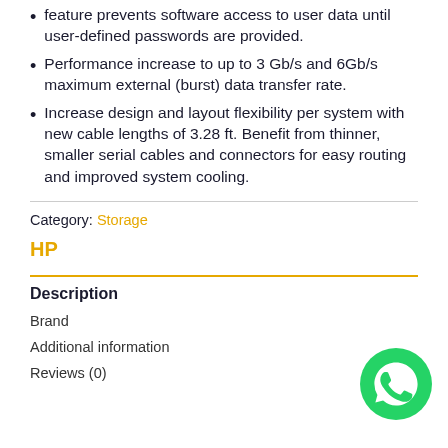feature prevents software access to user data until user-defined passwords are provided.
Performance increase to up to 3 Gb/s and 6Gb/s maximum external (burst) data transfer rate.
Increase design and layout flexibility per system with new cable lengths of 3.28 ft. Benefit from thinner, smaller serial cables and connectors for easy routing and improved system cooling.
Category: Storage
HP
Description
Brand
Additional information
Reviews (0)